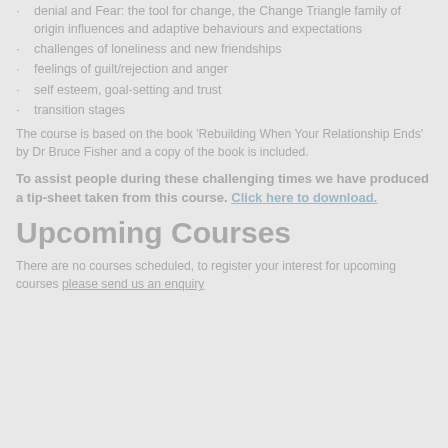denial and Fear: the tool for change, the Change Triangle family of origin influences and adaptive behaviours and expectations
challenges of loneliness and new friendships
feelings of guilt/rejection and anger
self esteem, goal-setting and trust
transition stages
The course is based on the book 'Rebuilding When Your Relationship Ends' by Dr Bruce Fisher and a copy of the book is included.
To assist people during these challenging times we have produced a tip-sheet taken from this course. Click here to download.
Upcoming Courses
There are no courses scheduled, to register your interest for upcoming courses please send us an enquiry